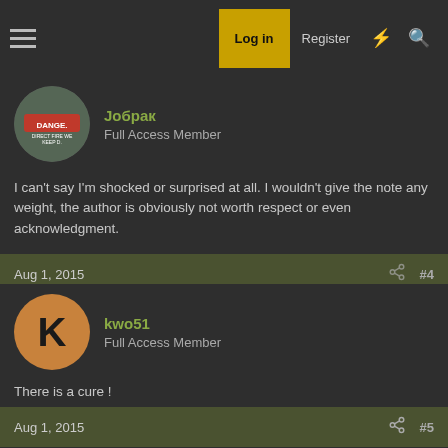Log in | Register
Joбрак
Full Access Member
I can't say I'm shocked or surprised at all. I wouldn't give the note any weight, the author is obviously not worth respect or even acknowledgment.
Aug 1, 2015   #4
kwo51
Full Access Member
There is a cure !
Aug 1, 2015   #5
SilvrSRT10
Super Moderator
Same as a keyboard commando. Tough talk as long as you don't know who they